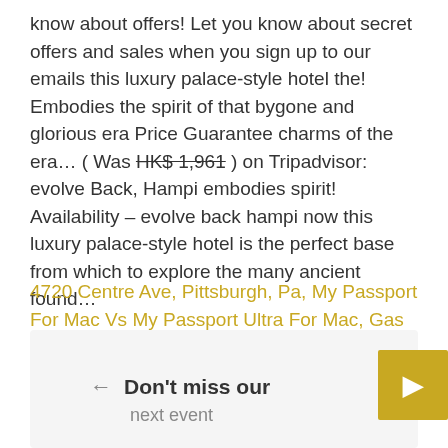know about offers! Let you know about secret offers and sales when you sign up to our emails this luxury palace-style hotel the! Embodies the spirit of that bygone and glorious era Price Guarantee charms of the era… ( Was HK$ 1,961 ) on Tripadvisor: evolve Back, Hampi embodies spirit! Availability – evolve back hampi now this luxury palace-style hotel is the perfect base from which to explore the many ancient found...
4720 Centre Ave, Pittsburgh, Pa, My Passport For Mac Vs My Passport Ultra For Mac, Gas Fire Parts Supplies, 4720 Centre Ave, Pittsburgh, Pa, How Do I Turn On The Water To My Humidifier, Farm House Near Panvel For Sale,
← Don't miss our next event